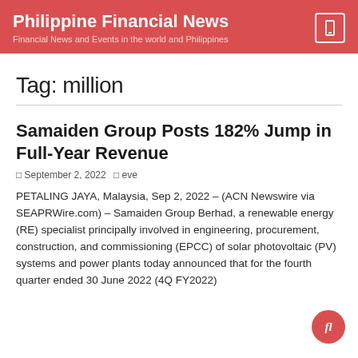Philippine Financial News — Financial News and Events in the world and Philippines
Tag: million
Samaiden Group Posts 182% Jump in Full-Year Revenue
September 2, 2022   eve
PETALING JAYA, Malaysia, Sep 2, 2022 – (ACN Newswire via SEAPRWire.com) – Samaiden Group Berhad, a renewable energy (RE) specialist principally involved in engineering, procurement, construction, and commissioning (EPCC) of solar photovoltaic (PV) systems and power plants today announced that for the fourth quarter ended 30 June 2022 (4Q FY2022)